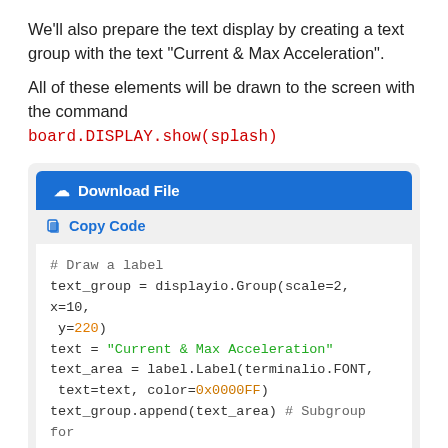We'll also prepare the text display by creating a text group with the text "Current & Max Acceleration".
All of these elements will be drawn to the screen with the command board.DISPLAY.show(splash)
[Figure (screenshot): A code download/copy widget with a blue 'Download File' button, a 'Copy Code' link, and a code block containing Python code for drawing a label with displayio and label.Label.]
# Draw a label
text_group = displayio.Group(scale=2, x=10, y=220)
text = "Current & Max Acceleration"
text_area = label.Label(terminalio.FONT, text=text, color=0x0000FF)
text_group.append(text_area) # Subgroup for text scaling